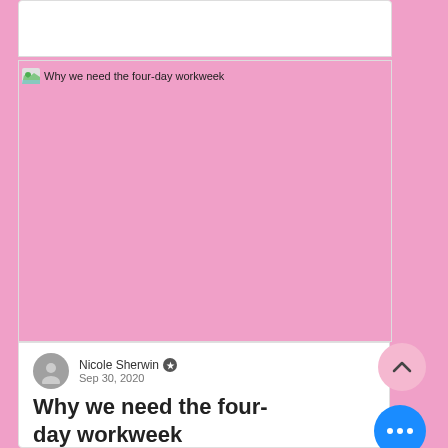[Figure (screenshot): Pink placeholder image area with browser favicon and page title 'Why we need the four-day workweek']
Nicole Sherwin · Sep 30, 2020
Why we need the four-day workweek
As a big fan of not wasting my time, this is the efficiency I